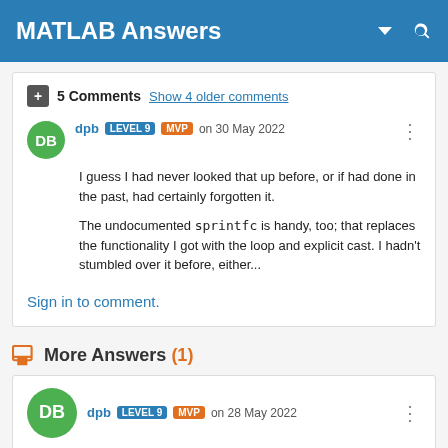MATLAB Answers
5 Comments  Show 4 older comments
dpb LEVEL 9 MVP on 30 May 2022
I guess I had never looked that up before, or if had done in the past, had certainly forgotten it.

The undocumented sprintfc is handy, too; that replaces the functionality I got with the loop and explicit cast.  I hadn't stumbled over it before, either...
Sign in to comment.
More Answers (1)
dpb LEVEL 9 MVP on 28 May 2022